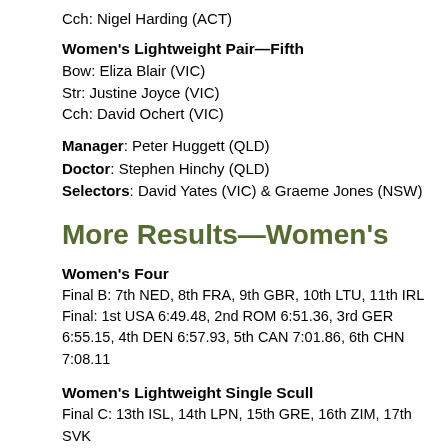Cch: Nigel Harding (ACT)
Women's Lightweight Pair—Fifth
Bow: Eliza Blair (VIC)
Str: Justine Joyce (VIC)
Cch: David Ochert (VIC)
Manager: Peter Huggett (QLD)
Doctor: Stephen Hinchy (QLD)
Selectors: David Yates (VIC) & Graeme Jones (NSW)
More Results—Women's
Women's Four
Final B: 7th NED, 8th FRA, 9th GBR, 10th LTU, 11th IRL
Final: 1st USA 6:49.48, 2nd ROM 6:51.36, 3rd GER 6:55.15, 4th DEN 6:57.93, 5th CAN 7:01.86, 6th CHN 7:08.11
Women's Lightweight Single Scull
Final C: 13th ISL, 14th LPN, 15th GRE, 16th ZIM, 17th SVK
Final B: 7th POL, 8th CAN, 9th GER, 10th HUN, 11th CRO, 12th HKG
Final: 1st ROM 8:06.90, 2nd FRA 8:07.66, 3rd USA 8:09.74,